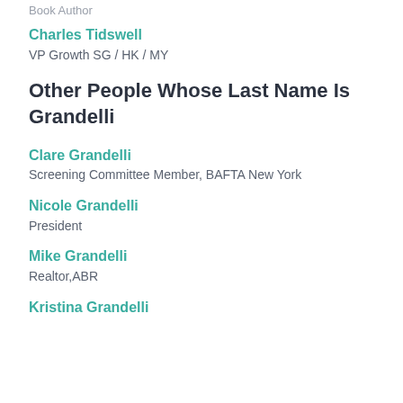Book Author
Charles Tidswell
VP Growth SG / HK / MY
Other People Whose Last Name Is Grandelli
Clare Grandelli
Screening Committee Member, BAFTA New York
Nicole Grandelli
President
Mike Grandelli
Realtor,ABR
Kristina Grandelli